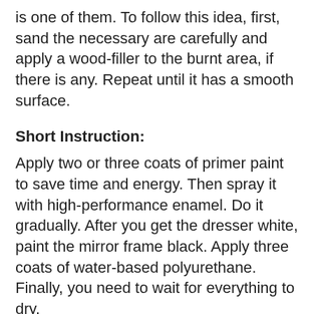is one of them. To follow this idea, first, sand the necessary are carefully and apply a wood-filler to the burnt area, if there is any. Repeat until it has a smooth surface.
Short Instruction:
Apply two or three coats of primer paint to save time and energy. Then spray it with high-performance enamel. Do it gradually. After you get the dresser white, paint the mirror frame black. Apply three coats of water-based polyurethane. Finally, you need to wait for everything to dry.
While waiting, you can fill your next agenda to follow and copy one or some of the next inspiring bedroom dresser projects: 12 Modern Bedroom Dresser Ideas